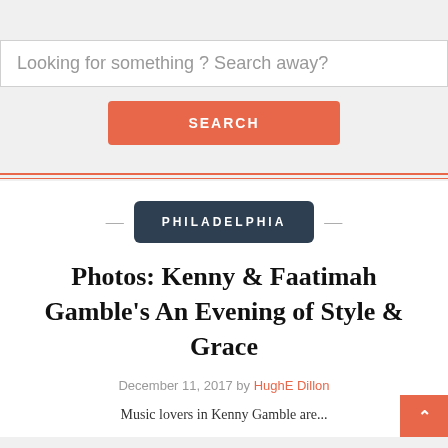Looking for something ? Search away?
SEARCH
PHILADELPHIA
Photos: Kenny & Faatimah Gamble’s An Evening of Style & Grace
December 11, 2017 by HughE Dillon
Music lovers in Kenny Gamble are...